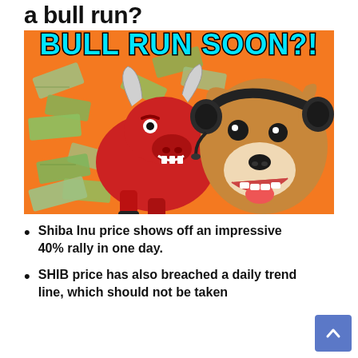a bull run?
[Figure (illustration): Meme image with orange background showing a red cartoon bull with horns and money bills, next to a Shiba Inu dog wearing headphones. Text overlay reads 'BULL RUN SOON?!' in cyan/turquoise bold lettering.]
Shiba Inu price shows off an impressive 40% rally in one day.
SHIB price has also breached a daily trend line, which should not be taken